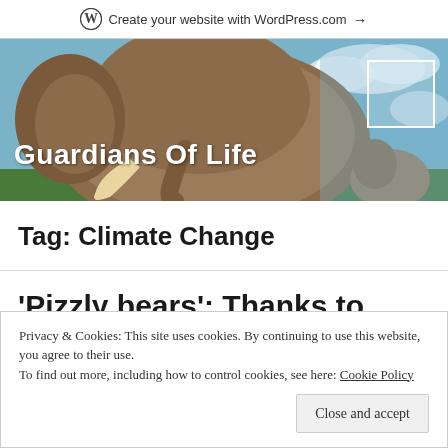Create your website with WordPress.com →
[Figure (photo): Hero image of elephants with blue sky background, showing the 'Guardians Of Life' blog header with a white outlined box in the top right corner]
Guardians Of Life
Tag: Climate Change
'Pizzly bears': Thanks to
Privacy & Cookies: This site uses cookies. By continuing to use this website, you agree to their use.
To find out more, including how to control cookies, see here: Cookie Policy
[Close and accept]